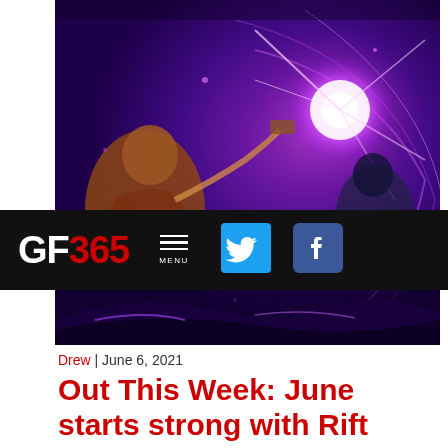[Figure (screenshot): Game screenshot showing Ratchet & Clank: Rift Apart with purple dimensional energy and characters in a sci-fi fantasy setting]
GF365 | MENU | Twitter | Facebook
Drew | June 6, 2021
Out This Week: June starts strong with Rift Apart, Intergrade, and more